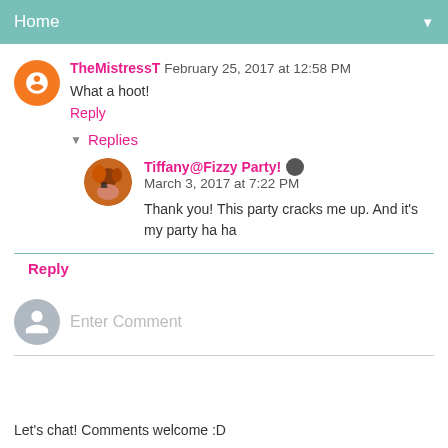Home
TheMistressT  February 25, 2017 at 12:58 PM
What a hoot!
Reply
Replies
Tiffany@Fizzy Party!  March 3, 2017 at 7:22 PM
Thank you! This party cracks me up. And it's my party ha ha
Reply
Enter Comment
Let's chat! Comments welcome :D